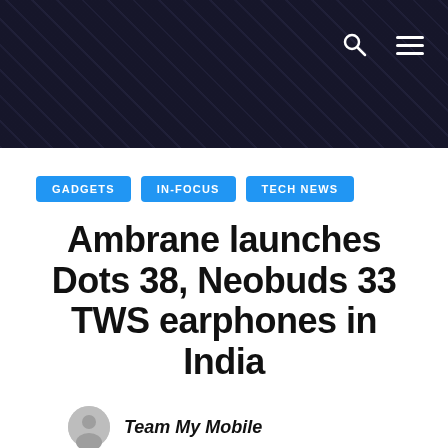[Figure (photo): Dark city skyline aerial photo used as website header banner with search and menu icons overlay]
GADGETS
IN-FOCUS
TECH NEWS
Ambrane launches Dots 38, Neobuds 33 TWS earphones in India
Team My Mobile